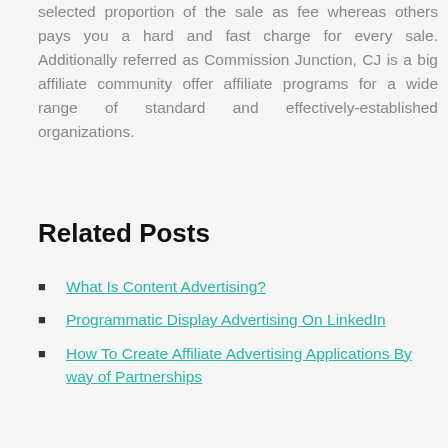selected proportion of the sale as fee whereas others pays you a hard and fast charge for every sale. Additionally referred as Commission Junction, CJ is a big affiliate community offer affiliate programs for a wide range of standard and effectively-established organizations.
Related Posts
What Is Content Advertising?
Programmatic Display Advertising On LinkedIn
How To Create Affiliate Advertising Applications By way of Partnerships